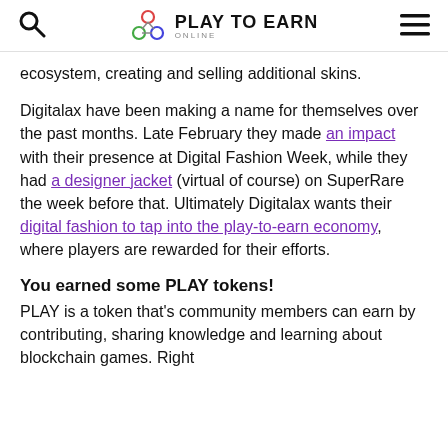PLAY TO EARN ONLINE
ecosystem, creating and selling additional skins.
Digitalax have been making a name for themselves over the past months. Late February they made an impact with their presence at Digital Fashion Week, while they had a designer jacket (virtual of course) on SuperRare the week before that. Ultimately Digitalax wants their digital fashion to tap into the play-to-earn economy, where players are rewarded for their efforts.
You earned some PLAY tokens!
PLAY is a token that's community members can earn by contributing, sharing knowledge and learning about blockchain games. Right